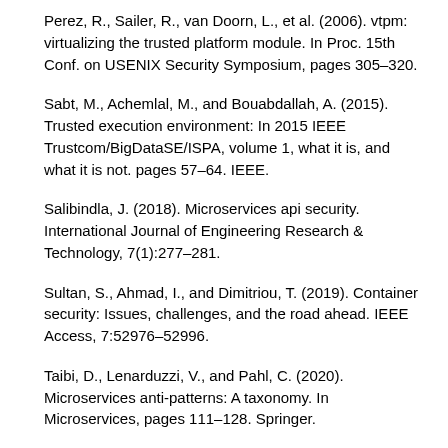Perez, R., Sailer, R., van Doorn, L., et al. (2006). vtpm: virtualizing the trusted platform module. In Proc. 15th Conf. on USENIX Security Symposium, pages 305–320.
Sabt, M., Achemlal, M., and Bouabdallah, A. (2015). Trusted execution environment: In 2015 IEEE Trustcom/BigDataSE/ISPA, volume 1, what it is, and what it is not. pages 57–64. IEEE.
Salibindla, J. (2018). Microservices api security. International Journal of Engineering Research & Technology, 7(1):277–281.
Sultan, S., Ahmad, I., and Dimitriou, T. (2019). Container security: Issues, challenges, and the road ahead. IEEE Access, 7:52976–52996.
Taibi, D., Lenarduzzi, V., and Pahl, C. (2020). Microservices anti-patterns: A taxonomy. In Microservices, pages 111–128. Springer.
Yarygina, T. and Bagge, A. H. (2018). Overcoming security challenges in microservice architectures. In 2018 IEEE Symposium on Service-Oriented System Engineering (SOSE), pages 11–20. IEEE.